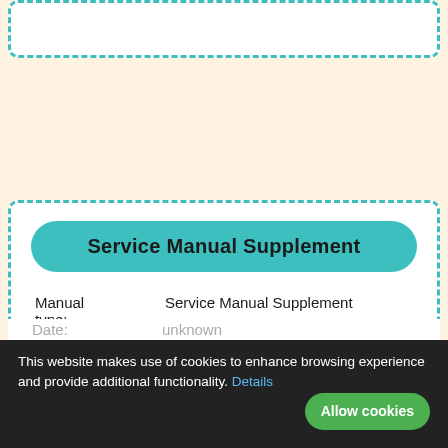Service Manual Supplement
| Field | Value |
| --- | --- |
| Manual type: | Service Manual Supplement |
| Pages: | 44 |
| Size: | 1.54 Mbytes (1614390 Bytes) |
| Language: | english, german |
| Date: | unknown |
This website makes use of cookies to enhance browsing experience and provide additional functionality. Details
Allow cookies